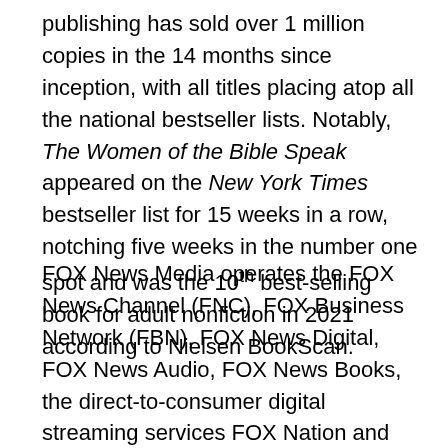publishing has sold over 1 million copies in the 14 months since inception, with all titles placing atop all the national bestseller lists. Notably, The Women of the Bible Speak appeared on the New York Times bestseller list for 15 weeks in a row, notching five weeks in the number one spot and was the 10th best-selling book for adult nonfiction in 2021 according to Nielsen BookScan.
FOX News Media operates the FOX News Channel (FNC), FOX Business Network (FBN), FOX News Digital, FOX News Audio, FOX News Books, the direct-to-consumer digital streaming services FOX Nation and FOX News International and the AVOD platform FOX Weather. Currently the number one network in all of cable, FNC has also been the most watched television news channel for 20 consecutive years, while FBN currently ranks among the top business channels on cable. Owned by FOX Corporation, FOX News Media reaches 200 million people